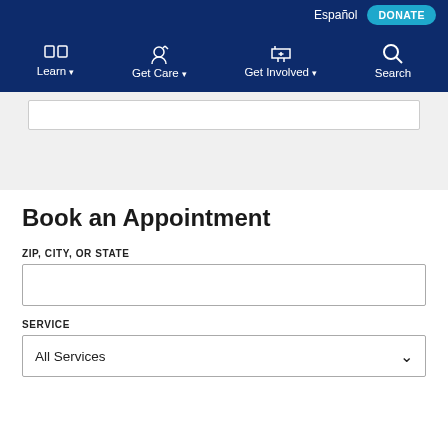Español  DONATE
Learn  Get Care  Get Involved  Search
Book an Appointment
ZIP, CITY, OR STATE
SERVICE
All Services